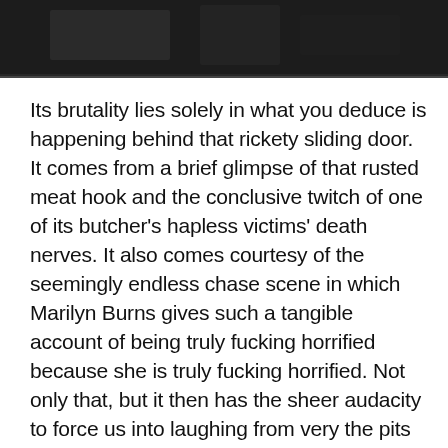[Figure (photo): Dark photograph, partially visible at top of page, showing a dimly lit scene with dark tones.]
Its brutality lies solely in what you deduce is happening behind that rickety sliding door. It comes from a brief glimpse of that rusted meat hook and the conclusive twitch of one of its butcher’s hapless victims’ death nerves. It also comes courtesy of the seemingly endless chase scene in which Marilyn Burns gives such a tangible account of being truly fucking horrified because she is truly fucking horrified. Not only that, but it then has the sheer audacity to force us into laughing from very the pits of our stomachs mere moments later. With our